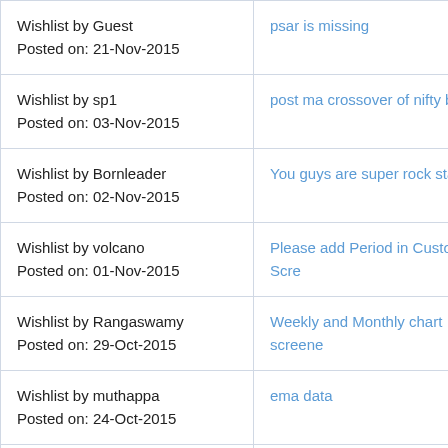| Wishlist info | Link |
| --- | --- |
| Wishlist by Guest
Posted on: 21-Nov-2015 | psar is missing |
| Wishlist by sp1
Posted on: 03-Nov-2015 | post ma crossover of nifty by vario |
| Wishlist by Bornleader
Posted on: 02-Nov-2015 | You guys are super rock star's |
| Wishlist by volcano
Posted on: 01-Nov-2015 | Please add Period in Custom Scre |
| Wishlist by Rangaswamy
Posted on: 29-Oct-2015 | Weekly and Monthly chart screene |
| Wishlist by muthappa
Posted on: 24-Oct-2015 | ema data |
| Wishlist by deepakv
Posted on: 22-Oct-2015 | Harmonic Patterns |